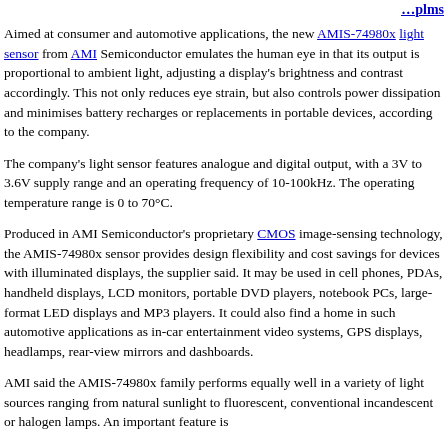…plms
Aimed at consumer and automotive applications, the new AMIS-74980x light sensor from AMI Semiconductor emulates the human eye in that its output is proportional to ambient light, adjusting a display's brightness and contrast accordingly. This not only reduces eye strain, but also controls power dissipation and minimises battery recharges or replacements in portable devices, according to the company.
The company's light sensor features analogue and digital output, with a 3V to 3.6V supply range and an operating frequency of 10-100kHz. The operating temperature range is 0 to 70°C.
Produced in AMI Semiconductor's proprietary CMOS image-sensing technology, the AMIS-74980x sensor provides design flexibility and cost savings for devices with illuminated displays, the supplier said. It may be used in cell phones, PDAs, handheld displays, LCD monitors, portable DVD players, notebook PCs, large-format LED displays and MP3 players. It could also find a home in such automotive applications as in-car entertainment video systems, GPS displays, headlamps, rear-view mirrors and dashboards.
AMI said the AMIS-74980x family performs equally well in a variety of light sources ranging from natural sunlight to fluorescent, conventional incandescent or halogen lamps. An important feature is